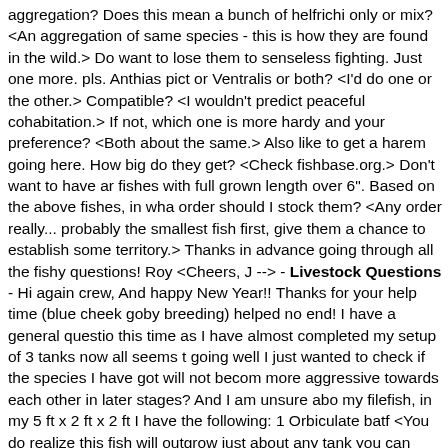aggregation? Does this mean a bunch of helfrichi only or mix? <An aggregation of same species - this is how they are found in the wild.> Do want to lose them to senseless fighting. Just one more. pls. Anthias pict or Ventralis or both? <I'd do one or the other.> Compatible? <I wouldn't predict peaceful cohabitation.> If not, which one is more hardy and your preference? <Both about the same.> Also like to get a harem going here. How big do they get? <Check fishbase.org.> Don't want to have ar fishes with full grown length over 6". Based on the above fishes, in wha order should I stock them? <Any order really... probably the smallest fish first, give them a chance to establish some territory.> Thanks in advance going through all the fishy questions! Roy <Cheers, J --> - Livestock Questions - Hi again crew, And happy New Year!! Thanks for your help time (blue cheek goby breeding) helped no end! I have a general question this time as I have almost completed my setup of 3 tanks now all seems t going well I just wanted to check if the species I have got will not becom more aggressive towards each other in later stages? And I am unsure abo my filefish, in my 5 ft x 2 ft x 2 ft I have the following: 1 Orbiculate batf <You do realize this fish will outgrow just about any tank you can throw it. Really, an inappropriate, albeit too common aquarium fish.> 1 blue ch goby (offspring of other 2 which u helped with!!) 1 torpedo goby 1 clean wrasse 1 yellow tang 2 common clowns 2 blennies 1 cleaner shrimp 2 fir shrimp 2 Atlantic anemones 2 feather dusters and various polyps in the n tank along (4ft x 2ft x 2ft) I have the following: 1 flame angel 1 tasseled filefish 1 panther grouper (small at the moment) 1 mandarin 1 long spine sea urchin in 3rd tank are breeding gobies!!! Does this sound ok to you o would the tasseled filefish like the taste of the sea urchin?? <I'd be much